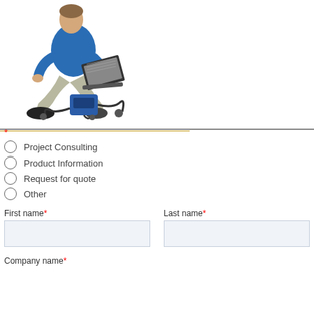[Figure (photo): A technician in a blue shirt crouching down and operating a laptop connected to industrial/testing equipment with cables and a blue device on the ground.]
*
Project Consulting
Product Information
Request for quote
Other
First name*
Last name*
Company name*